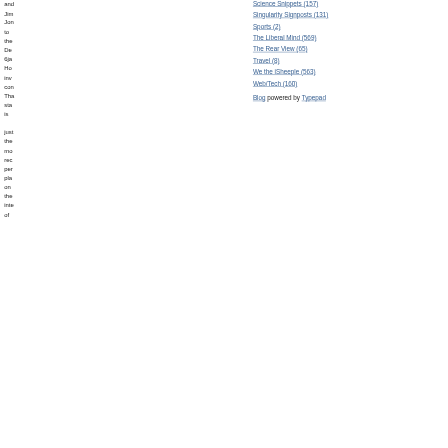and Jim Jon to the De 6ja Ho inv con Tha sta is just the mo rec per pla on the inte of
Science Snippets (157)
Singularity Signposts (131)
Sports (2)
The Liberal Mind (569)
The Rear View (65)
Travel (8)
We the iSheeple (563)
Web/Tech (160)
Blog powered by Typepad